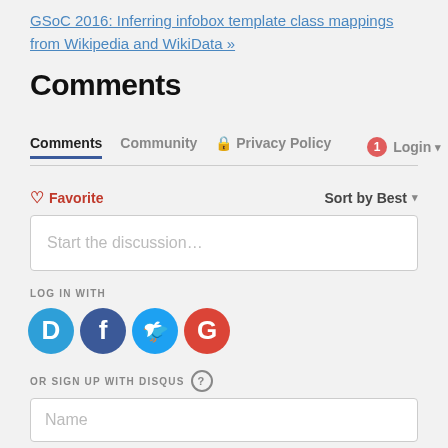GSoC 2016: Inferring infobox template class mappings from Wikipedia and WikiData »
Comments
Comments | Community | Privacy Policy | 1 | Login
♡ Favorite   Sort by Best
Start the discussion…
LOG IN WITH
[Figure (illustration): Social login icons: Disqus (blue D), Facebook (dark blue F), Twitter (light blue bird), Google (red G)]
OR SIGN UP WITH DISQUS ?
Name